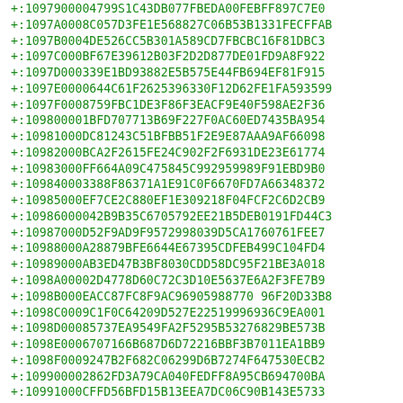+:1097900004799S1C43DB077FBEDA00FEBFF897C7E0
+:1097A0008C057D3FE1E568827C06B53B1331FECFFAB
+:1097B0004DE526CC5B301A589CD7FBCBC16F81DBC3
+:1097C000BF67E39612B03F2D2D877DE01FD9A8F922
+:1097D000339E1BD93882E5B575E44FB694EF81F915
+:1097E0000644C61F2625396330F12D62FE1FA593599
+:1097F0008759FBC1DE3F86F3EACF9E40F598AE2F36
+:109800001BFD707713B69F227F0AC60ED7435BA954
+:10981000DC81243C51BFBB51F2E9E87AAA9AF66098
+:10982000BCA2F2615FE24C902F2F6931DE23E61774
+:10983000FF664A09C475845C992959989F91EBD9B0
+:109840003388F86371A1E91C0F6670FD7A66348372
+:10985000EF7CE2C880EF1E309218F04FCF2C6D2CB9
+:109860004289B35C6705792EE21B5DEB0191FD44C3
+:10987000D52F9AD9F9572998039D5CA1760761FEE7
+:10988000A28879BFE6644E67395CDFEB499C104FD4
+:10989000AB3ED47B3BF8030CDD58DC95F21BE3A018
+:1098A00002D4778D60C72C3D10E5637E6A2F3FE7B9
+:1098B000EACC87FC8F9AC96905988770 96F20D33B8
+:1098C0009C1F0C64209D527E22519996936C9EA001
+:1098D00085737EA9549FA2F5295B53276829BE573B
+:1098E0006707166B687D6D72216BBF3B7011EA1BB9
+:1098F0009247B2F682C06299D6B7274F647530ECB2
+:10990000 2862FD3A79CA040FEDFF8A95CB694700BA
+:10991000CFFD56BFD15B13EEA7DC06C90B143E5733
+:10992000B8BFF54A16993B19E0DD2780E7CAC47B2A
+:10993000FF87BF27F27DC53AC5577243972FF45FC02
+:10994000BBA5FCBCEEC868B2318AC5A53C3114FE8B
+:10995000475B7A635C2D35D9C6FAB7D07E0A43FDE2
+:10996000083S8AFEC4B8CB409E029FD5317FA968D3
+:10997000E4000E00B05BD1E07E0E084E7E087A711